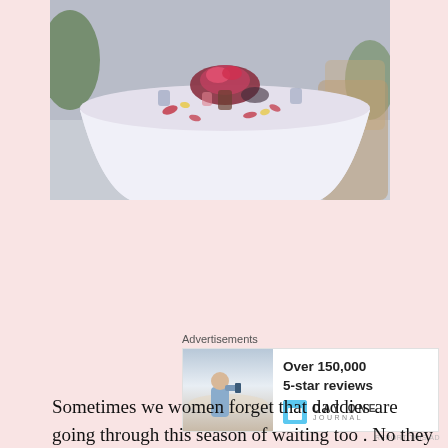[Figure (photo): A decorated round dining table with a white tablecloth, red flower petals, and various items on top, set outdoors.]
Advertisements
[Figure (photo): Advertisement for Day One Journal: 'Over 150,000 5-star reviews' with an image of a person photographing a landscape and the Day One Journal logo.]
REPORT THIS AD
Sometimes we women forget that daddies are going through this season of waiting too . No they are not